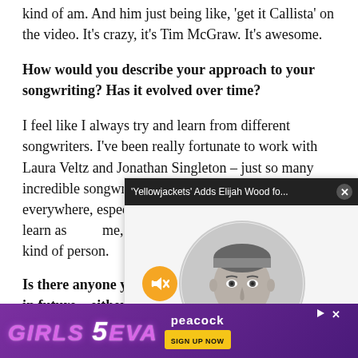kind of am. And him just being like, 'get it Callista' on the video. It's crazy, it's Tim McGraw. It's awesome.
How would you describe your approach to your songwriting? Has it evolved over time?
I feel like I always try and learn from different songwriters. I've been really fortunate to work with Laura Veltz and Jonathan Singleton – just so many incredible songwriters that are super iconic everywhere, especially in Nashville. So I just try to learn as [much as I can]. For me, I usually write on guitar first. I'm a melody kind of person.
Is there anyone you'd [like to work with] in future – either perfo[rming or writing]?
I really [want to work with a lot of artists]. [I've be]en trying [to not put myself in a box]. [I] just [want to]
[Figure (photo): Popup overlay showing 'Yellowjackets Adds Elijah Wood fo...' with a black and white circular headshot photo of Elijah Wood and a mute button icon]
[Figure (infographic): Advertisement banner for Girls5Eva on Peacock with text 'GIRLS 5EVA' and 'peacock SIGN UP NOW']